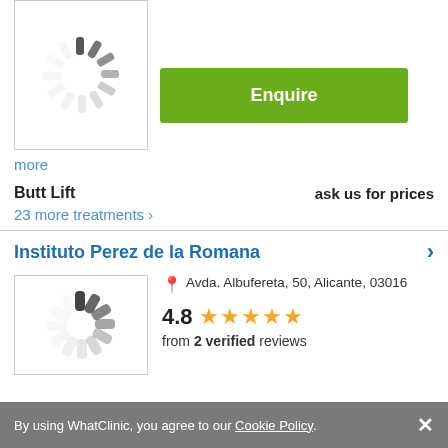[Figure (illustration): Loading spinner animation (circular spinning indicator) inside a bordered image placeholder]
Enquire
more
Butt Lift   ask us for prices
23 more treatments >
Instituto Perez de la Romana
[Figure (illustration): Loading spinner animation (circular spinning indicator) inside a bordered image placeholder]
Avda. Albufereta, 50, Alicante, 03016
4.8 ★★★★★ from 2 verified reviews
By using WhatClinic, you agree to our Cookie Policy. ×